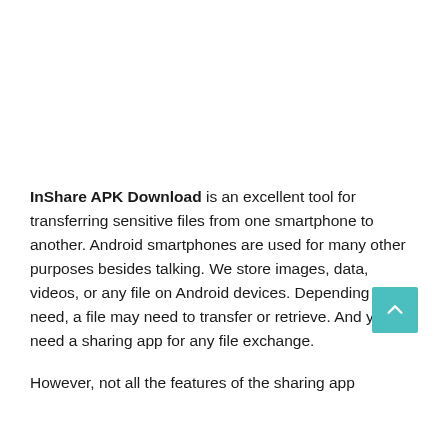InShare APK Download is an excellent tool for transferring sensitive files from one smartphone to another. Android smartphones are used for many other purposes besides talking. We store images, data, videos, or any file on Android devices. Depending on the need, a file may need to transfer or retrieve. And you need a sharing app for any file exchange.
However, not all the features of the sharing app